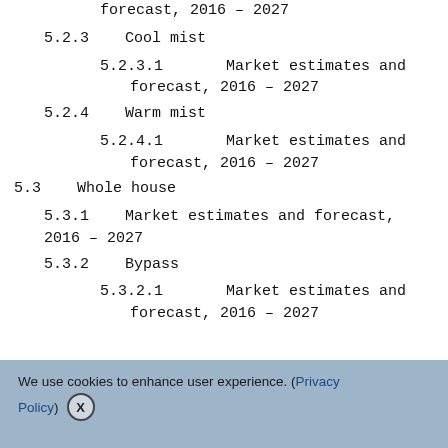forecast, 2016 – 2027
5.2.3    Cool mist
5.2.3.1        Market estimates and forecast, 2016 – 2027
5.2.4    Warm mist
5.2.4.1        Market estimates and forecast, 2016 – 2027
5.3    Whole house
5.3.1    Market estimates and forecast, 2016 – 2027
5.3.2    Bypass
5.3.2.1        Market estimates and forecast, 2016 – 2027
We use cookies to enhance user experience. (Privacy Policy) X